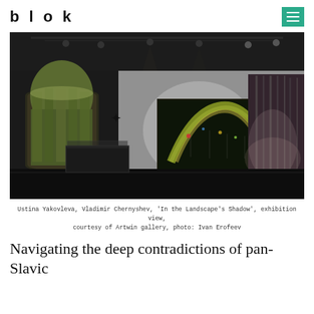blok
[Figure (photo): Gallery exhibition view showing artworks on a dark-ceilinged space. On the left wall hangs an arched painting resembling a forest window in warm tones. In the center hangs a large rectangular painting with an arch-like green and golden form against a dark background with colored spots. On the right is a large photographic print of misty forest trees. A display case sits in the foreground.]
Ustina Yakovleva, Vladimir Chernyshev, 'In the Landscape's Shadow', exhibition view, courtesy of Artwin gallery, photo: Ivan Erofeev
Navigating the deep contradictions of pan-Slavic